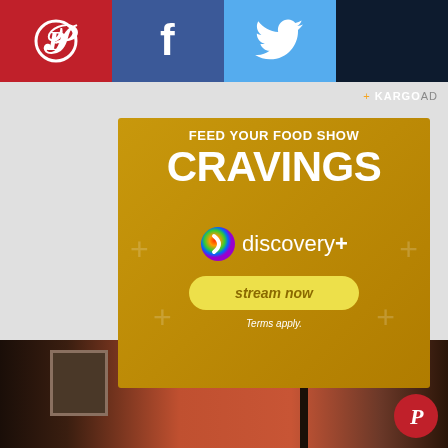[Figure (infographic): Social media share bar with Pinterest (red), Facebook (blue), Twitter (light blue), and dark panel across the top]
[Figure (infographic): Discovery+ advertisement on golden/yellow background. Text: FEED YOUR FOOD SHOW CRAVINGS with Discovery+ logo and 'stream now' button. Terms apply.]
+ KARGO AD
[Figure (photo): Bottom strip showing orange/brown room interior with dark bicycle frame and wall art visible]